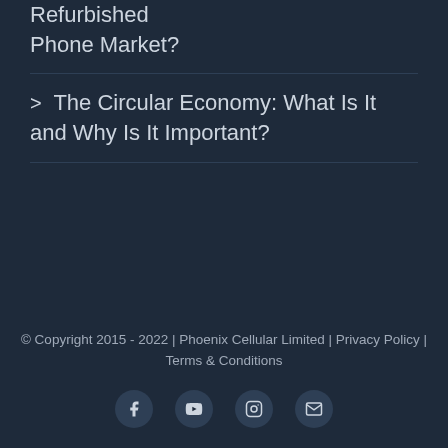Refurbished Phone Market?
> The Circular Economy: What Is It and Why Is It Important?
© Copyright 2015 - 2022 | Phoenix Cellular Limited | Privacy Policy | Terms & Conditions